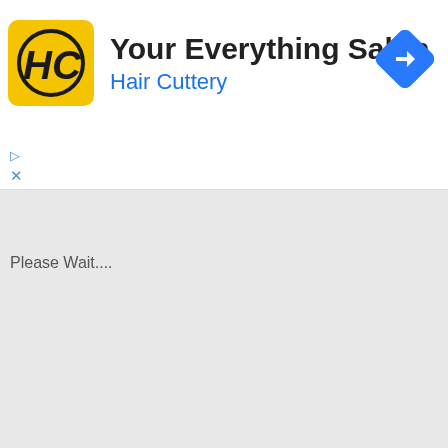[Figure (logo): Hair Cuttery advertisement banner with yellow HC logo, title 'Your Everything Salon', subtitle 'Hair Cuttery', and a blue diamond navigation arrow icon]
Please Wait....